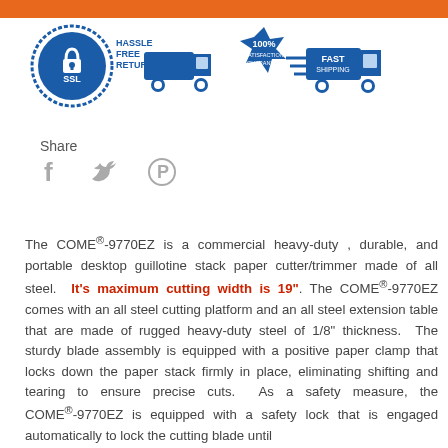[Figure (infographic): Trust badges: SSL secure badge (blue circle with padlock), Hassle Free Return (blue truck icon with text), 100% Satisfaction Guarantee (blue badge), Fast Shipping (blue truck with speed lines)]
Share
[Figure (infographic): Social media sharing icons: Facebook (f), Twitter (bird), Pinterest (P)]
The COME®-9770EZ is a commercial heavy-duty , durable, and portable desktop guillotine stack paper cutter/trimmer made of all steel. It's maximum cutting width is 19". The COME®-9770EZ comes with an all steel cutting platform and an all steel extension table that are made of rugged heavy-duty steel of 1/8" thickness. The sturdy blade assembly is equipped with a positive paper clamp that locks down the paper stack firmly in place, eliminating shifting and tearing to ensure precise cuts. As a safety measure, the COME®-9770EZ is equipped with a safety lock that is engaged automatically to lock the cutting blade until